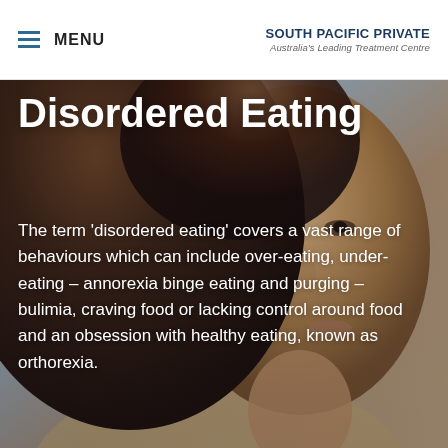MENU | SOUTH PACIFIC PRIVATE — Australia's Leading Treatment Centre
Disordered Eating
The term ‘disordered eating’ covers a vast range of behaviours which can include over-eating, under-eating – annorexia binge eating and purging – bulimia, craving food or lacking control around food and an obsession with healthy eating, known as orthorexia.
[Figure (photo): Portrait photo of a young woman with curly hair, shown from the shoulders up against a light background. The right side of her face is visible, looking slightly to the side.]